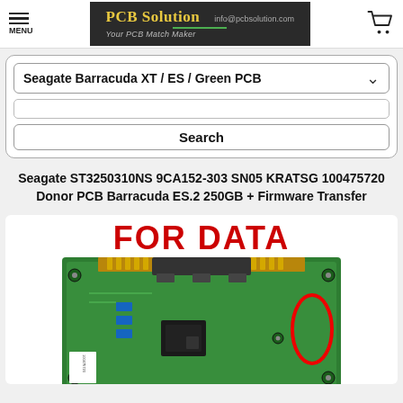MENU | PCB Solution - Your PCB Match Maker | info@pcbsolution.com
Seagate Barracuda XT / ES / Green PCB
Search
Seagate ST3250310NS 9CA152-303 SN05 KRATSG 100475720 Donor PCB Barracuda ES.2 250GB + Firmware Transfer
[Figure (photo): PCB board photo with red FOR DATA text overlaid and red circle highlighting a component on a green Seagate hard drive PCB board]